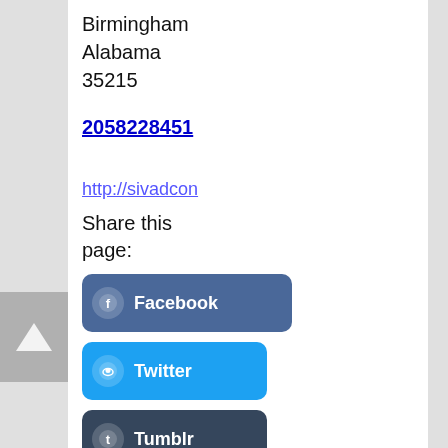Birmingham
Alabama
35215
2058228451
http://sivadcon
Share this page:
[Figure (other): Facebook share button — blue rounded rectangle with Facebook 'f' icon and label 'Facebook']
[Figure (other): Twitter share button — light blue rounded rectangle with Twitter bird icon and label 'Twitter']
[Figure (other): Tumblr share button — dark blue rounded rectangle with Tumblr 't' icon and label 'Tumblr']
[Figure (other): Email share button — grey rounded rectangle with envelope icon and label 'E-']